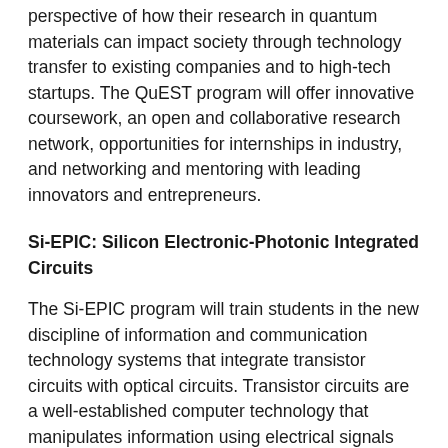perspective of how their research in quantum materials can impact society through technology transfer to existing companies and to high-tech startups. The QuEST program will offer innovative coursework, an open and collaborative research network, opportunities for internships in industry, and networking and mentoring with leading innovators and entrepreneurs.
Si-EPIC: Silicon Electronic-Photonic Integrated Circuits
The Si-EPIC program will train students in the new discipline of information and communication technology systems that integrate transistor circuits with optical circuits. Transistor circuits are a well-established computer technology that manipulates information using electrical signals while optical circuits are a new technology that allows information to be processed and transmitted directly using light. These new integrated electronic/photonic systems represent the next leap in information processing hardware.  Students in the